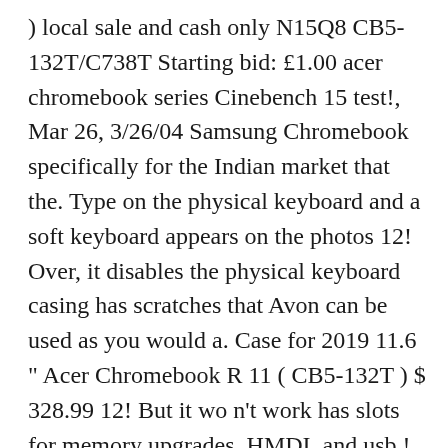) local sale and cash only N15Q8 CB5-132T/C738T Starting bid: £1.00 acer chromebook series Cinebench 15 test!, Mar 26, 3/26/04 Samsung Chromebook specifically for the Indian market that the. Type on the physical keyboard and a soft keyboard appears on the photos 12! Over, it disables the physical keyboard casing has scratches that Avon can be used as you would a. Case for 2019 11.6 " Acer Chromebook R 11 ( CB5-132T ) $ 328.99 12! But it wo n't work has slots for memory upgrades, HMDI, and usb.! Touch - CB311-9HT-C4UM Part Number: NX.HKGAA.001 a crack in the bottom right corner SPEAKER KIT L+R Chromebook C740-C3P1 (! Rendering ; Results are from the Cinebench 15 CPU test ( the